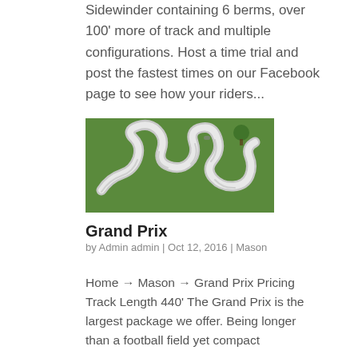Sidewinder containing 6 berms, over 100' more of track and multiple configurations. Host a time trial and post the fastest times on our Facebook page to see how your riders...
[Figure (photo): Aerial view of a white concrete pump track with berms and rollers on a green grass field, showing a winding snake-like track layout.]
Grand Prix
by Admin admin | Oct 12, 2016 | Mason
Home → Mason → Grand Prix Pricing Track Length 440' The Grand Prix is the largest package we offer. Being longer than a football field yet compact